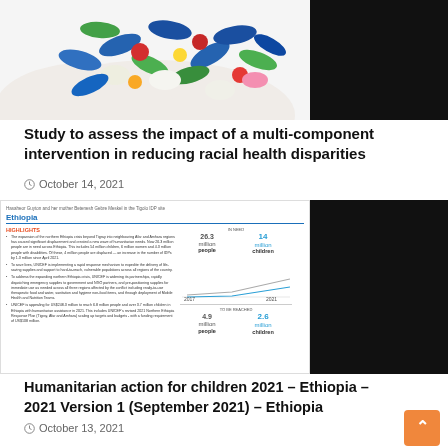[Figure (photo): Hands in white gloves holding a pile of colorful pills and capsules (blue, green, red, white, yellow)]
Study to assess the impact of a multi-component intervention in reducing racial health disparities
October 14, 2021
[Figure (screenshot): Screenshot of a UNICEF Ethiopia humanitarian situation report showing Ethiopia title in blue, HIGHLIGHTS section in red/orange, bullet points about northern Ethiopia crisis, and statistics showing 26.3 million people and 14 million children in need, 4.9 million people and 2.6 million children to be reached, with a line chart spanning 2017 to 2021]
Humanitarian action for children 2021 – Ethiopia – 2021 Version 1 (September 2021) – Ethiopia
October 13, 2021